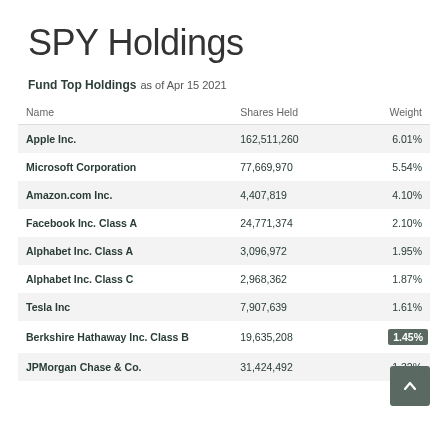SPY Holdings
Fund Top Holdings as of Apr 15 2021
| Name | Shares Held | Weight |
| --- | --- | --- |
| Apple Inc. | 162,511,260 | 6.01% |
| Microsoft Corporation | 77,669,970 | 5.54% |
| Amazon.com Inc. | 4,407,819 | 4.10% |
| Facebook Inc. Class A | 24,771,374 | 2.10% |
| Alphabet Inc. Class A | 3,096,972 | 1.95% |
| Alphabet Inc. Class C | 2,968,362 | 1.87% |
| Tesla Inc | 7,907,639 | 1.61% |
| Berkshire Hathaway Inc. Class B | 19,635,208 | 1.45% |
| JPMorgan Chase & Co. | 31,424,492 | 1.32% |